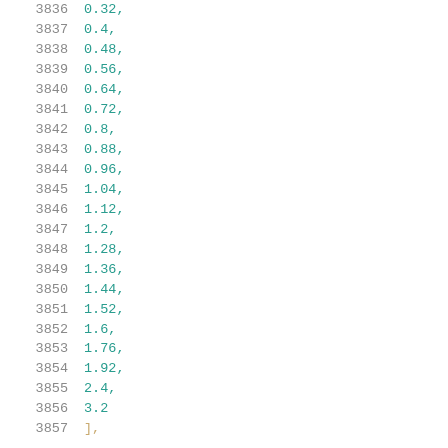3836   0.32,
3837   0.4,
3838   0.48,
3839   0.56,
3840   0.64,
3841   0.72,
3842   0.8,
3843   0.88,
3844   0.96,
3845   1.04,
3846   1.12,
3847   1.2,
3848   1.28,
3849   1.36,
3850   1.44,
3851   1.52,
3852   1.6,
3853   1.76,
3854   1.92,
3855   2.4,
3856   3.2
3857  ],